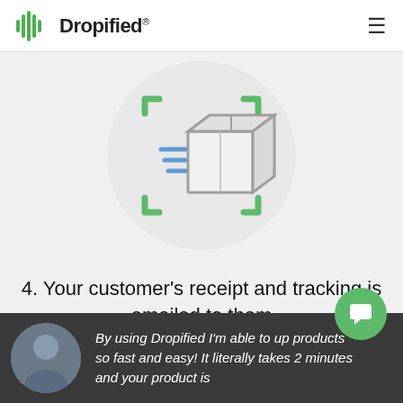Dropified®
[Figure (illustration): Shipping box icon with motion lines inside a circular gray background, framed by green bracket corners]
4. Your customer's receipt and tracking is emailed to them
By using Dropified I'm able to up products so fast and easy! It literally takes 2 minutes and your product is